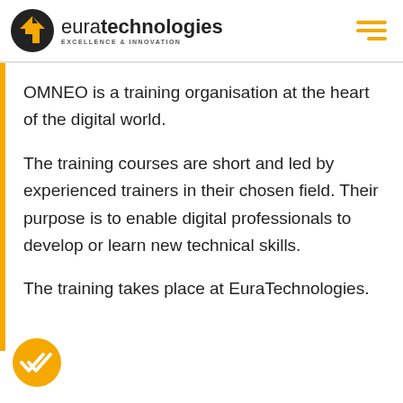[Figure (logo): EuraTechnologies logo with orange/black house icon and text 'euratechnologies EXCELLENCE & INNOVATION']
OMNEO is a training organisation at the heart of the digital world.
The training courses are short and led by experienced trainers in their chosen field. Their purpose is to enable digital professionals to develop or learn new technical skills.
The training takes place at EuraTechnologies.
[Figure (illustration): Yellow circle with double checkmark icon]